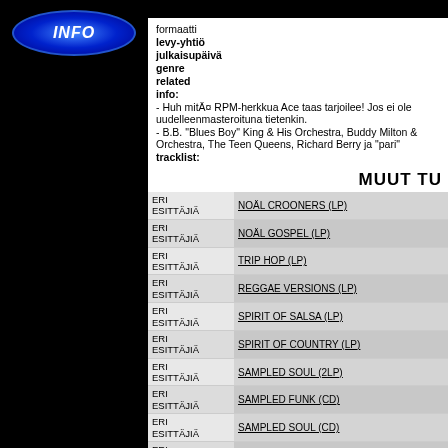[Figure (logo): Blue INFO button with elliptical glow on black background, left panel]
formaatti
levy-yhtiö
julkaisupäivä
genre
related
info:
- Huh mitÄ¤ RPM-herkkua Ace taas tarjoilee! Jos ei ole uudelleenmasteroituna tietenkin.
- B.B. "Blues Boy" King & His Orchestra, Buddy Milton & Orchestra, The Teen Queens, Richard Berry ja "pari"
tracklist:
MUUT TU
| Artist | Title |
| --- | --- |
| ERI ESITTÄJIÄ | NOÄL CROONERS (LP) |
| ERI ESITTÄJIÄ | NOÄL GOSPEL (LP) |
| ERI ESITTÄJIÄ | TRIP HOP (LP) |
| ERI ESITTÄJIÄ | REGGAE VERSIONS (LP) |
| ERI ESITTÄJIÄ | SPIRIT OF SALSA (LP) |
| ERI ESITTÄJIÄ | SPIRIT OF COUNTRY (LP) |
| ERI ESITTÄJIÄ | SAMPLED SOUL (2LP) |
| ERI ESITTÄJIÄ | SAMPLED FUNK (CD) |
| ERI ESITTÄJIÄ | SAMPLED SOUL (CD) |
| ERI |  |